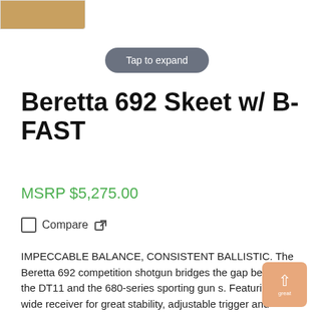[Figure (photo): Partial product image thumbnail in upper-left corner showing brown/wood-toned object]
Tap to expand
Beretta 692 Skeet w/ B-FAST
MSRP $5,275.00
Compare
IMPECCABLE BALANCE, CONSISTENT BALLISTIC. The Beretta 692 competition shotgun bridges the gap between the DT11 and the 680-series sporting gun s. Featuring a wide receiver for great stability, adjustable trigger and ejector-extractor and barrels optimized for durability and shot-consistency, it is perfect for competition and the occasional bird hunt.